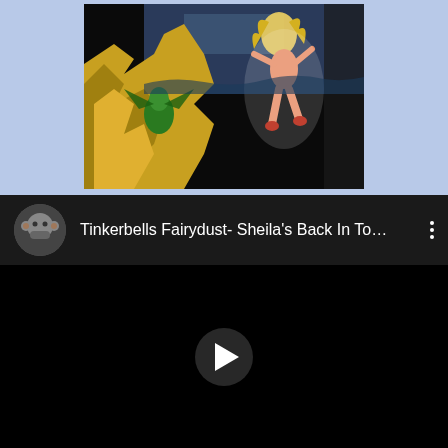[Figure (illustration): Album artwork showing a dramatic fantasy/rock illustration with yellow rocky cliffs, a green creature, a blonde female figure dancing/jumping, against a dark ocean background]
[Figure (screenshot): YouTube video player UI showing a video titled 'Tinkerbells Fairydust- Sheila's Back In To...' with a circular avatar of a monkey/ape face emoji, three vertical dots menu icon, and a play button in the center of a black video area]